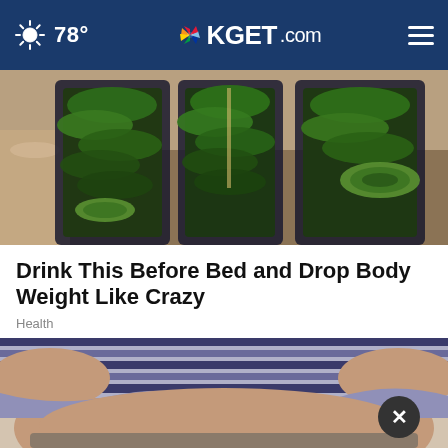78° KGET.com
[Figure (photo): Three glasses filled with green vegetable smoothie drinks containing leafy greens and cucumber slices, on a kitchen counter]
Drink This Before Bed and Drop Body Weight Like Crazy
Health
[Figure (photo): Close-up of an overweight person's midsection wearing a striped shirt, with a circular X close button overlay in the lower right]